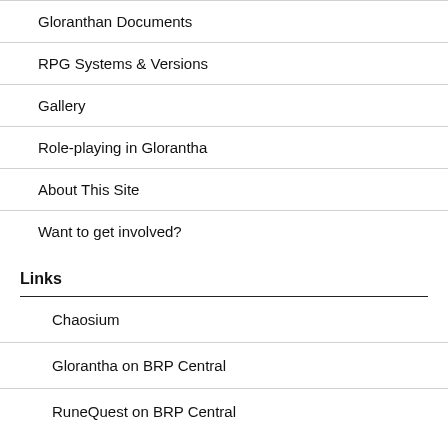Gloranthan Documents
RPG Systems & Versions
Gallery
Role-playing in Glorantha
About This Site
Want to get involved?
Links
Chaosium
Glorantha on BRP Central
RuneQuest on BRP Central